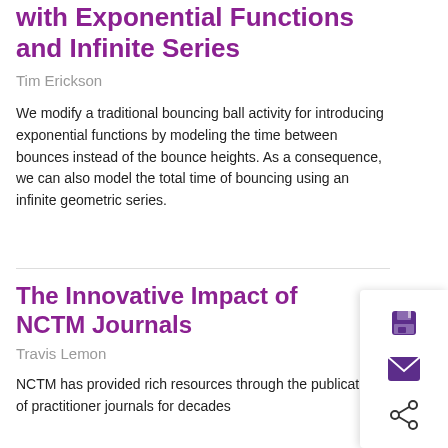with Exponential Functions and Infinite Series
Tim Erickson
We modify a traditional bouncing ball activity for introducing exponential functions by modeling the time between bounces instead of the bounce heights. As a consequence, we can also model the total time of bouncing using an infinite geometric series.
The Innovative Impact of NCTM Journals
Travis Lemon
NCTM has provided rich resources through the publication of practitioner journals for decades...